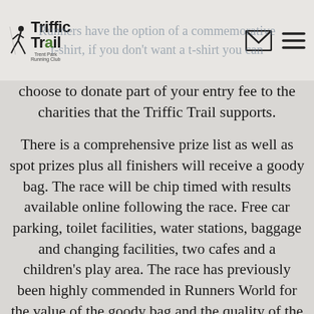[Figure (logo): Triffic Trail logo with runner icon and Trent Park Running Club text, plus email and hamburger menu icons in header]
Runners have the option of a commemorative t-shirt, if you don't want a t-shirt you can choose to donate part of your entry fee to the charities that the Triffic Trail supports.
There is a comprehensive prize list as well as spot prizes plus all finishers will receive a goody bag. The race will be chip timed with results available online following the race. Free car parking, toilet facilities, water stations, baggage and changing facilities, two cafes and a children's play area. The race has previously been highly commended in Runners World for the value of the goody bag and the quality of the T-shirt. Race photographs will be available to download for free from our Facebook back after the